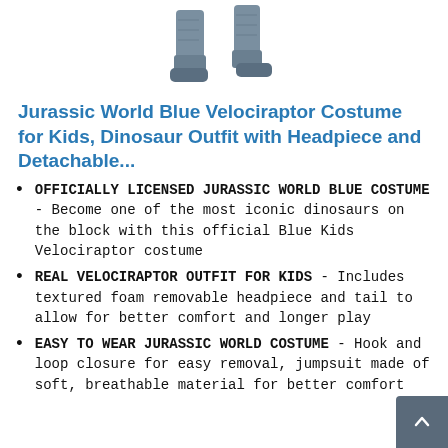[Figure (photo): Partial view of a child wearing a blue velociraptor costume, showing lower legs and feet with dinosaur-textured suit against white background.]
Jurassic World Blue Velociraptor Costume for Kids, Dinosaur Outfit with Headpiece and Detachable...
OFFICIALLY LICENSED JURASSIC WORLD BLUE COSTUME - Become one of the most iconic dinosaurs on the block with this official Blue Kids Velociraptor costume
REAL VELOCIRAPTOR OUTFIT FOR KIDS - Includes textured foam removable headpiece and tail to allow for better comfort and longer play
EASY TO WEAR JURASSIC WORLD COSTUME - Hook and loop closure for easy removal, jumpsuit made of soft, breathable material for better comfort